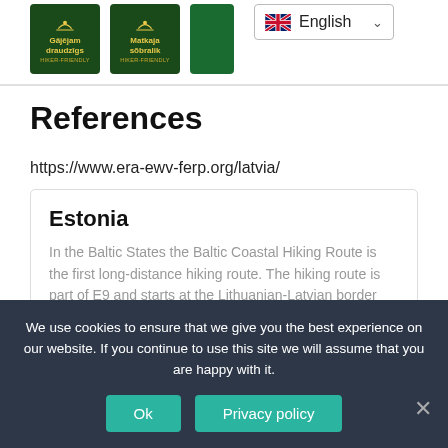[Figure (other): Two green hiker-friendly badge icons with text 'Gājējam draudzīgs HIKER-FRIENDLY' and 'Matkaja sõbralik HIKER-FRIENDLY', plus a language selector showing English with UK flag]
References
https://www.era-ewv-ferp.org/latvia/
Estonia
In the Baltic States the Baltic Coastal Hiking Route is the first long-distance hiking route. The hiking route is part of E9 and starts at the Lithuanian-Latvian border
We use cookies to ensure that we give you the best experience on our website. If you continue to use this site we will assume that you are happy with it.